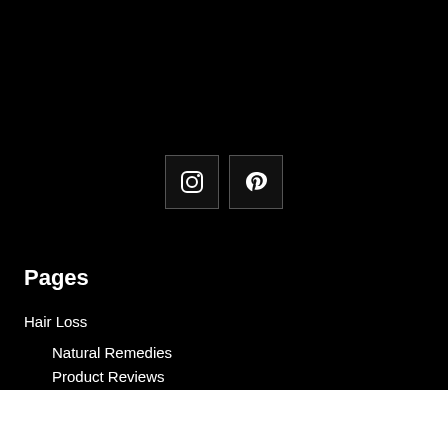[Figure (other): Instagram icon in a dark square box]
[Figure (other): Pinterest icon in a dark square box]
Pages
Hair Loss
Natural Remedies
Product Reviews
Research